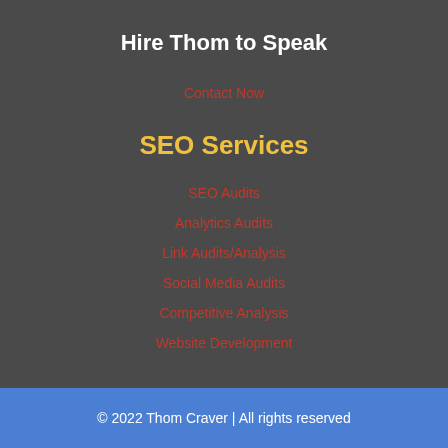Hire Thom to Speak
Contact Now
SEO Services
SEO Audits
Analytics Audits
Link Audits/Analysis
Social Media Audits
Competitive Analysis
Website Development
© 2022 Thom Craver | All rights reserved